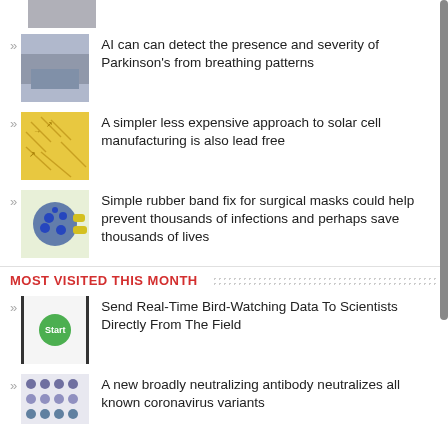[Figure (photo): Partial image at top - gray/fabric texture]
AI can can detect the presence and severity of Parkinson's from breathing patterns
A simpler less expensive approach to solar cell manufacturing is also lead free
Simple rubber band fix for surgical masks could help prevent thousands of infections and perhaps save thousands of lives
MOST VISITED THIS MONTH
Send Real-Time Bird-Watching Data To Scientists Directly From The Field
A new broadly neutralizing antibody neutralizes all known coronavirus variants